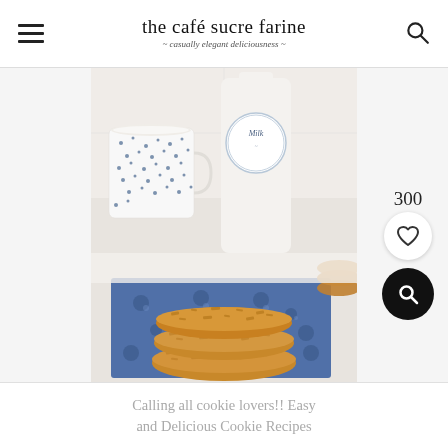the café sucre farine — casually elegant deliciousness
[Figure (photo): Stack of oatmeal cookies on a blue floral napkin/cloth, with a blue dotted ceramic cup and a white milk bottle in the background, on a white marble surface.]
300
Calling all cookie lovers!! Easy and Delicious Cookie Recipes